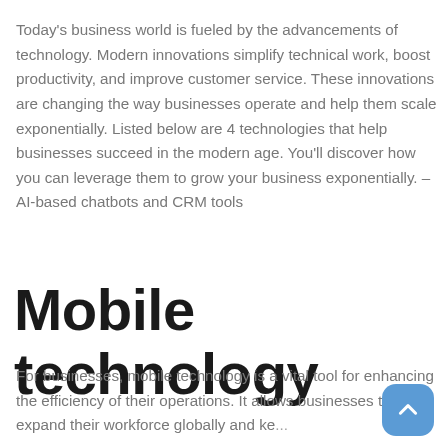Today's business world is fueled by the advancements of technology. Modern innovations simplify technical work, boost productivity, and improve customer service. These innovations are changing the way businesses operate and help them scale exponentially. Listed below are 4 technologies that help businesses succeed in the modern age. You'll discover how you can leverage them to grow your business exponentially. – AI-based chatbots and CRM tools
Mobile technology
For businesses, mobile technology is a vital tool for enhancing the efficiency of their operations. It allows businesses to expand their workforce globally and ke...